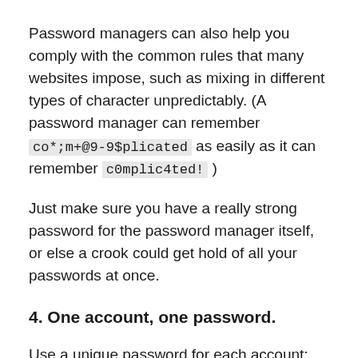Password managers can also help you comply with the common rules that many websites impose, such as mixing in different types of character unpredictably. (A password manager can remember co*;m+@9-9$plicated as easily as it can remember c0mplic4ted! )
Just make sure you have a really strong password for the password manager itself, or else a crook could get hold of all your passwords at once.
4. One account, one password.
Use a unique password for each account: crooks who acquire one of your passwords will almost